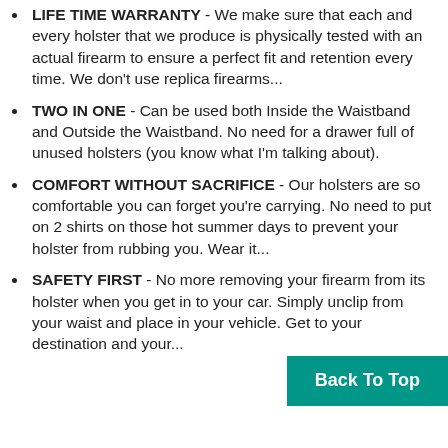LIFE TIME WARRANTY - We make sure that each and every holster that we produce is physically tested with an actual firearm to ensure a perfect fit and retention every time. We don't use replica firearms...
TWO IN ONE - Can be used both Inside the Waistband and Outside the Waistband. No need for a drawer full of unused holsters (you know what I'm talking about).
COMFORT WITHOUT SACRIFICE - Our holsters are so comfortable you can forget you're carrying. No need to put on 2 shirts on those hot summer days to prevent your holster from rubbing you. Wear it...
SAFETY FIRST - No more removing your firearm from its holster when you get in to your car. Simply unclip from your waist and place in your vehicle. Get to your destination and your...
Back To Top